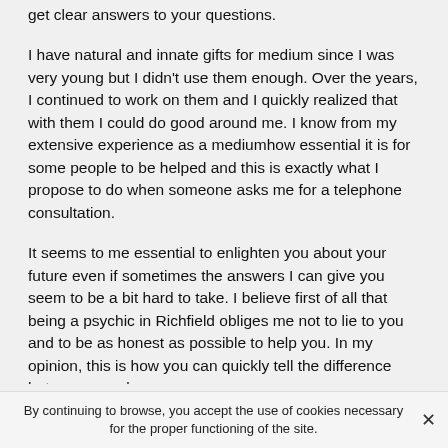get clear answers to your questions.
I have natural and innate gifts for medium since I was very young but I didn't use them enough. Over the years, I continued to work on them and I quickly realized that with them I could do good around me. I know from my extensive experience as a mediumhow essential it is for some people to be helped and this is exactly what I propose to do when someone asks me for a telephone consultation.
It seems to me essential to enlighten you about your future even if sometimes the answers I can give you seem to be a bit hard to take. I believe first of all that being a psychic in Richfield obliges me not to lie to you and to be as honest as possible to help you. In my opinion, this is how you can quickly tell the difference between a real
By continuing to browse, you accept the use of cookies necessary for the proper functioning of the site.